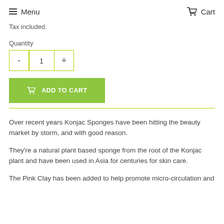Menu   Cart
Tax included.
Quantity
- 1 +
ADD TO CART
Over recent years Konjac Sponges have been hitting the beauty market by storm, and with good reason.
They're a natural plant based sponge from the root of the Konjac plant and have been used in Asia for centuries for skin care.
The Pink Clay has been added to help promote micro-circulation and